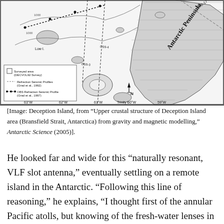[Figure (map): Map of Deception Island area showing Bransfield Strait, Antarctica, with surveyed area (DECVOL92 Survey), Refraction Seismic Profiles (Grad et al., 1992), OBS Refraction Seismic Profile (Grad et al., 1997), depth contours, Low I., Trinity I., and Antarctic Peninsula labeled. Coordinate grid from approximately 56°W to 63°W.]
[Image: Deception Island, from "Upper crustal structure of Deception Island area (Bransfield Strait, Antarctica) from gravity and magnetic modelling," Antarctic Science (2005)].
He looked far and wide for this "naturally resonant, VLF slot antenna," eventually settling on a remote island in the Antarctic. "Following this line of reasoning," he explains, "I thought first of the annular Pacific atolls, but knowing of the fresh-water lenses in them"—that is, aquatic features that would destructively interfere with